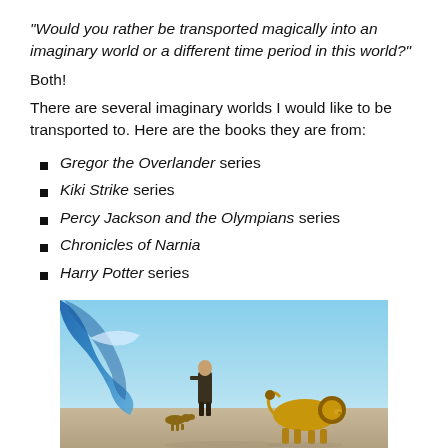“Would you rather be transported magically into an imaginary world or a different time period in this world?”
Both!
There are several imaginary worlds I would like to be transported to. Here are the books they are from:
Gregor the Overlander series
Kiki Strike series
Percy Jackson and the Olympians series
Chronicles of Narnia
Harry Potter series
[Figure (photo): A person standing with a lion and a small dog on a beach, with a large wave in the background — scene from Chronicles of Narnia]